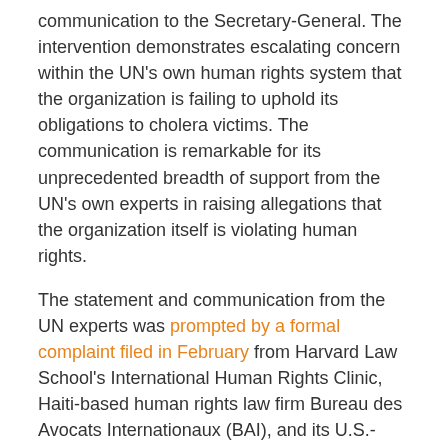communication to the Secretary-General. The intervention demonstrates escalating concern within the UN's own human rights system that the organization is failing to uphold its obligations to cholera victims. The communication is remarkable for its unprecedented breadth of support from the UN's own experts in raising allegations that the organization itself is violating human rights.
The statement and communication from the UN experts was prompted by a formal complaint filed in February from Harvard Law School's International Human Rights Clinic, Haiti-based human rights law firm Bureau des Avocats Internationaux (BAI), and its U.S.-based partner organization, the Institute for Justice & Democracy in Haiti (IJDH). The formal complaint called on the UN "Special Procedure" system, a group of UN-appointed human rights experts charged with reporting and advising on human rights issues worldwide, to investigate the violations linked to the UN's response to introducing cholera to Haiti and a